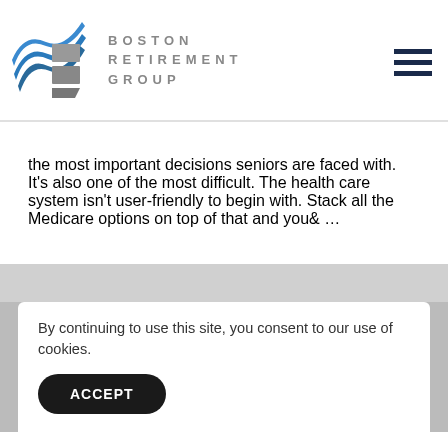[Figure (logo): Boston Retirement Group logo with blue wave graphic and gray text reading BOSTON RETIREMENT GROUP]
the most important decisions seniors are faced with. It's also one of the most difficult. The health care system isn't user-friendly to begin with. Stack all the Medicare options on top of that and you& …
By continuing to use this site, you consent to our use of cookies.